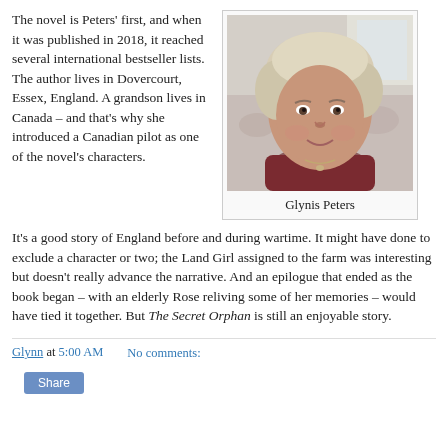The novel is Peters' first, and when it was published in 2018, it reached several international bestseller lists. The author lives in Dovercourt, Essex, England. A grandson lives in Canada – and that's why she introduced a Canadian pilot as one of the novel's characters.
[Figure (photo): Portrait photo of Glynis Peters, a woman with short blonde/white hair wearing a dark red top, seated in front of a floral-patterned couch.]
Glynis Peters
It's a good story of England before and during wartime. It might have done to exclude a character or two; the Land Girl assigned to the farm was interesting but doesn't really advance the narrative. And an epilogue that ended as the book began – with an elderly Rose reliving some of her memories – would have tied it together. But The Secret Orphan is still an enjoyable story.
Glynn at 5:00 AM     No comments:
Share